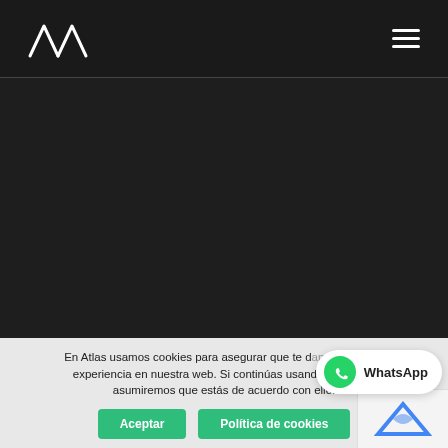AA (logo) — navigation bar with hamburger menu
[Figure (screenshot): Dark hero image area with near-black background]
En Atlas usamos cookies para asegurar que te damos la mejor experiencia en nuestra web. Si continúas usando este sitio, asumiremos que estás de acuerdo con ello.
Aceptar  Política de cookies